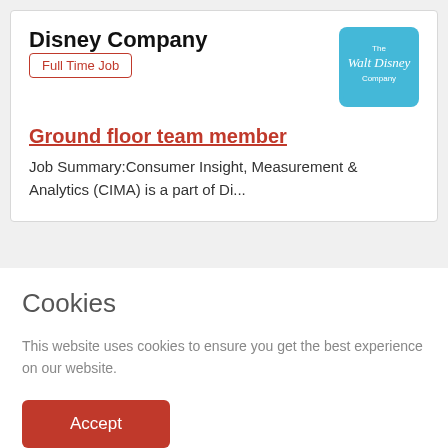Disney Company
Full Time Job
Ground floor team member
Job Summary:Consumer Insight, Measurement & Analytics (CIMA) is a part of Di...
Cookies
This website uses cookies to ensure you get the best experience on our website.
Accept